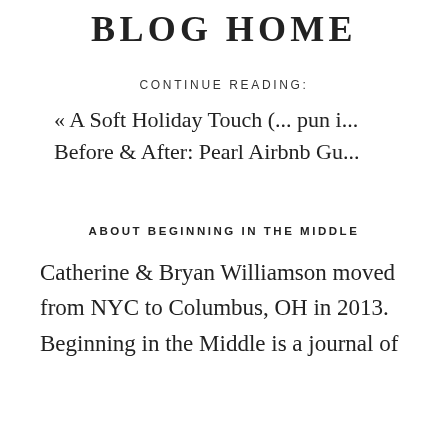BLOG HOME
CONTINUE READING:
« A Soft Holiday Touch (... pun i...
Before & After: Pearl Airbnb Gu...
ABOUT BEGINNING IN THE MIDDLE
Catherine & Bryan Williamson moved from NYC to Columbus, OH in 2013. Beginning in the Middle is a journal of